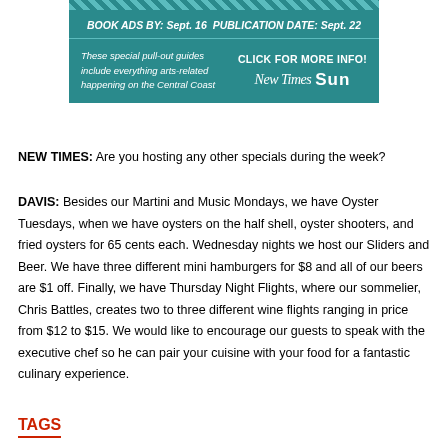[Figure (infographic): Teal advertisement banner with geometric diamond pattern. Top bar reads 'BOOK ADS BY: Sept. 16  PUBLICATION DATE: Sept. 22'. Main section left text: 'These special pull-out guides include everything arts-related happening on the Central Coast'. Right side: 'CLICK FOR MORE INFO!' with New Times and Sun logos.]
NEW TIMES: Are you hosting any other specials during the week?
DAVIS: Besides our Martini and Music Mondays, we have Oyster Tuesdays, when we have oysters on the half shell, oyster shooters, and fried oysters for 65 cents each. Wednesday nights we host our Sliders and Beer. We have three different mini hamburgers for $8 and all of our beers are $1 off. Finally, we have Thursday Night Flights, where our sommelier, Chris Battles, creates two to three different wine flights ranging in price from $12 to $15. We would like to encourage our guests to speak with the executive chef so he can pair your cuisine with your food for a fantastic culinary experience.
TAGS